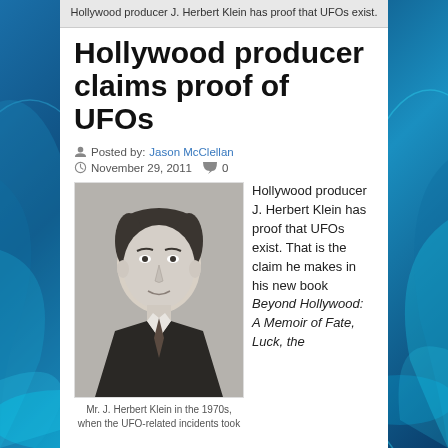Hollywood producer J. Herbert Klein has proof that UFOs exist.
Hollywood producer claims proof of UFOs
Posted by: Jason McClellan
November 29, 2011  0
[Figure (photo): Black and white portrait photo of Mr. J. Herbert Klein in a suit and tie]
Mr. J. Herbert Klein in the 1970s, when the UFO-related incidents took
Hollywood producer J. Herbert Klein has proof that UFOs exist. That is the claim he makes in his new book Beyond Hollywood: A Memoir of Fate, Luck, the